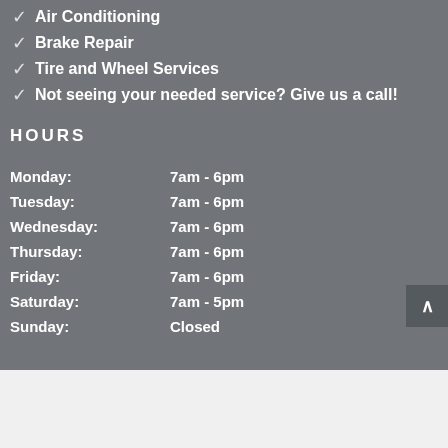✓ Air Conditioning
✓ Brake Repair
✓ Tire and Wheel Services
✓ Not seeing your needed service? Give us a call!
HOURS
| Day | Hours |
| --- | --- |
| Monday: | 7am - 6pm |
| Tuesday: | 7am - 6pm |
| Wednesday: | 7am - 6pm |
| Thursday: | 7am - 6pm |
| Friday: | 7am - 6pm |
| Saturday: | 7am - 5pm |
| Sunday: | Closed |
© Copyright 2022 | Burt Brothers Tire & Service | Returns & Refunds